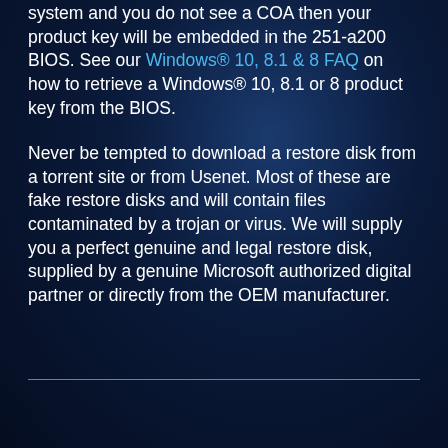system and you do not see a COA then your product key will be embedded in the 251-a200 BIOS. See our Windows® 10, 8.1 & 8 FAQ on how to retrieve a Windows® 10, 8.1 or 8 product key from the BIOS.
Never be tempted to download a restore disk from a torrent site or from Usenet. Most of these are fake restore disks and will contain files contaminated by a trojan or virus. We will supply you a perfect genuine and legal restore disk, supplied by a genuine Microsoft authorized digital partner or directly from the OEM manufacturer.